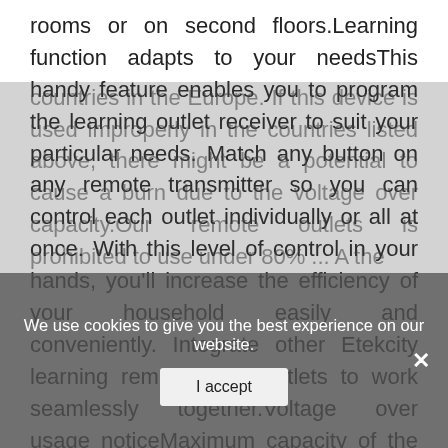rooms or on second floors.Learning function adapts to your needsThis handy feature enables you to program the learning outlet receiver to suit your particular needs. Match any button on any remote transmitter so you can control each outlet individually or all at once. With this level of control in your hands, you'll increase the efficiency of your household easily and conveniently. Integrate other Etekcity learning remotes and outlets to work seamlessly together.Voltage over usage noticeMaximum capacity of the power input is: 120V/60Hz. Only 10 percent over usage is allowed on the noted specifications. Etekcity outlets in countries that are allowed to use: USA, Japan and most countries in South America.Countries with voltage at 220V and above are not allowed to use: China, Australia, or most
countries in the Europe. If this device is used improperly in the countries listed above, there might be a potential to cause a burn due to the voltage over capacity.Our remote outlets is prohibited to use under 80% ... A the
We use cookies to give you the best experience on our website.
I accept